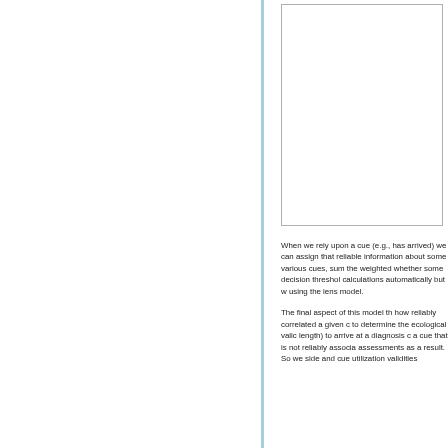[Figure (other): A partially visible figure or chart box at the top right of the page, showing only a bordered rectangular frame with white interior.]
When we rely upon a cue (e.g., has arrived) we can assign that reliable information about some various cues, sum the weighted whether some decision threshol calculations automatically but w using the lens model.
The final aspect of this model th how reliably correlated a given c to determine the ecological valic length) to arrive at a diagnosis c a cue that is not reliably associa assessments as a result. So we side and cue utilization validities